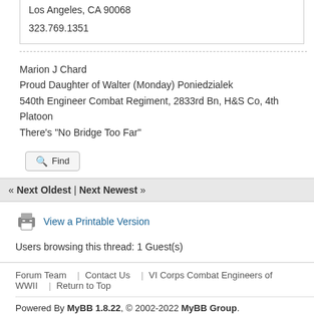Los Angeles, CA 90068
323.769.1351
Marion J Chard
Proud Daughter of Walter (Monday) Poniedzialek
540th Engineer Combat Regiment, 2833rd Bn, H&S Co, 4th Platoon
There's "No Bridge Too Far"
Find
« Next Oldest | Next Newest »
View a Printable Version
Users browsing this thread: 1 Guest(s)
Forum Team  Contact Us  VI Corps Combat Engineers of WWII  Return to Top
Powered By MyBB 1.8.22, © 2002-2022 MyBB Group.